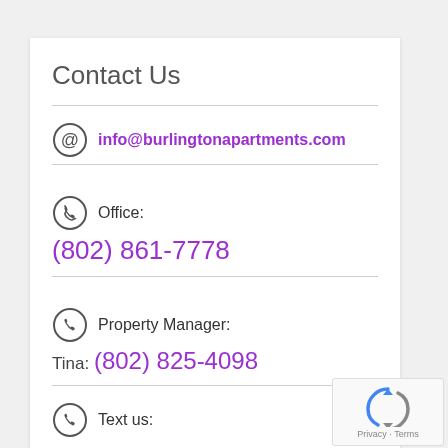Contact Us
info@burlingtonapartments.com
Office: (802) 861-7778
Property Manager: Tina: (802) 825-4098
Text us:
[Figure (logo): Google reCAPTCHA badge with arrow/refresh icon and Privacy - Terms text]